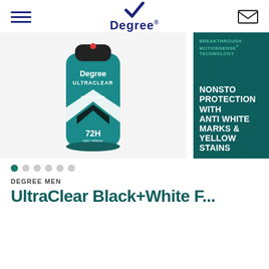Degree
[Figure (photo): Degree Men UltraClear Black+White 72H dry spray antiperspirant deodorant aerosol can in teal/white color scheme]
[Figure (infographic): Teal promotional panel reading: BREAKTHROUGH MOTIONSENSE TECHNOLOGY / NONSTOP PROTECTION WITH ANTI WHITE MARKS & YELLOW STAINS]
DEGREE MEN
UltraClear Black+White E...